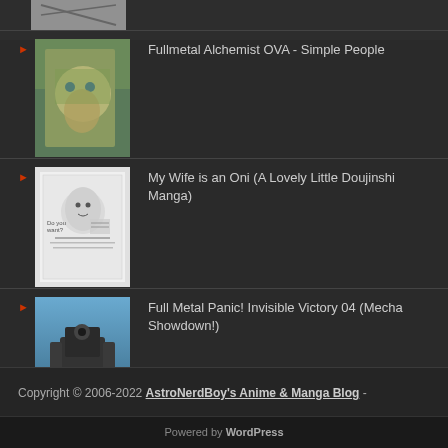[Figure (photo): Partial thumbnail at top, cropped anime/manga scene in grayscale]
Fullmetal Alchemist OVA - Simple People
My Wife is an Oni (A Lovely Little Doujinshi Manga)
Full Metal Panic! Invisible Victory 04 (Mecha Showdown!)
Copyright © 2006-2022 AstroNerdBoy's Anime & Manga Blog -
Powered by WordPress